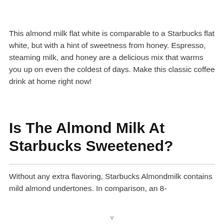This almond milk flat white is comparable to a Starbucks flat white, but with a hint of sweetness from honey. Espresso, steaming milk, and honey are a delicious mix that warms you up on even the coldest of days. Make this classic coffee drink at home right now!
Is The Almond Milk At Starbucks Sweetened?
Without any extra flavoring, Starbucks Almondmilk contains mild almond undertones. In comparison, an 8-
v